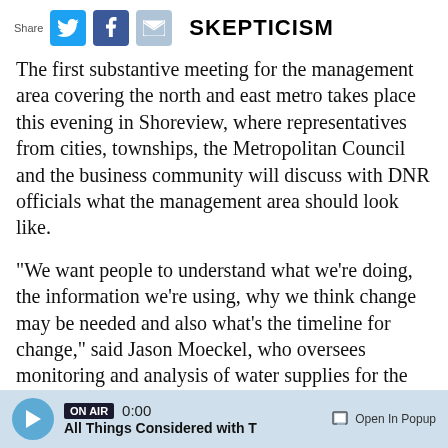Share | SKEPTICISM
The first substantive meeting for the management area covering the north and east metro takes place this evening in Shoreview, where representatives from cities, townships, the Metropolitan Council and the business community will discuss with DNR officials what the management area should look like.
"We want people to understand what we're doing, the information we're using, why we think change may be needed and also what's the timeline for change," said Jason Moeckel, who oversees monitoring and analysis of water supplies for the DNR. "This requires a lot of coordination."
ON AIR 0:00 All Things Considered with T | Open In Popup